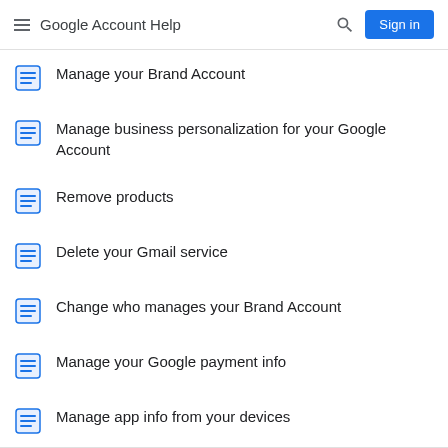Google Account Help
Manage your Brand Account
Manage business personalization for your Google Account
Remove products
Delete your Gmail service
Change who manages your Brand Account
Manage your Google payment info
Manage app info from your devices